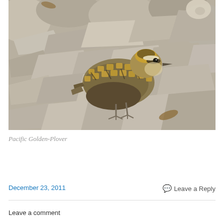[Figure (photo): A Pacific Golden-Plover bird standing on rocky terrain with white/grey stones. The bird has golden-brown speckled plumage with yellow and brown patterning on its wings and back, and a pale face with a dark eye stripe.]
Pacific Golden-Plover
December 23, 2011
Leave a Reply
Leave a comment